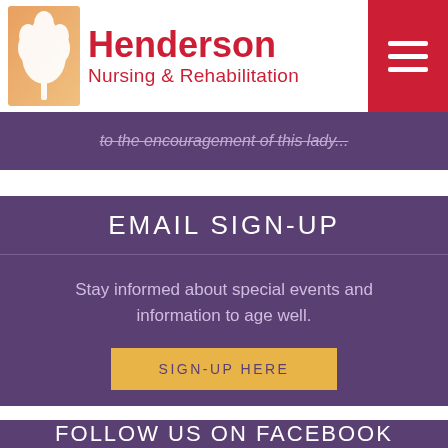[Figure (logo): Henderson Nursing & Rehabilitation logo with tree icon and red text]
to the encouragement of this lady....
EMAIL SIGN-UP
Stay informed about special events and information to age well.
SIGN-UP HERE
FOLLOW US ON FACEBOOK
Like and Share the latest news on your social...